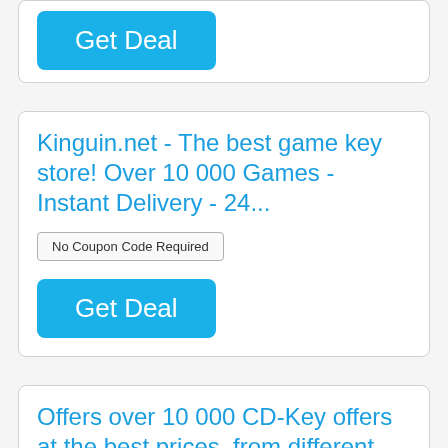[Figure (screenshot): Blue 'Get Deal' button on white card (top card, partially visible)]
Kinguin.net - The best game key store! Over 10 000 Games - Instant Delivery - 24...
No Coupon Code Required
[Figure (screenshot): Blue 'Get Deal' button]
Offers over 10 000 CD-Key offers at the best prices, from different sellers - 10...